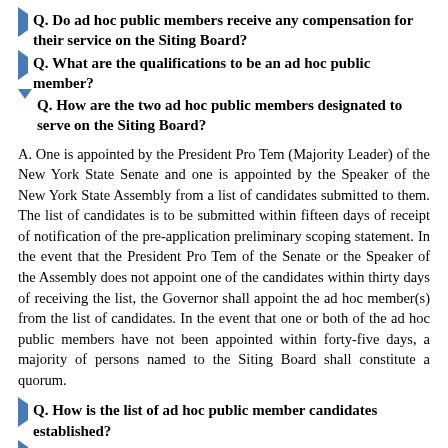Q. Do ad hoc public members receive any compensation for their service on the Siting Board?
Q. What are the qualifications to be an ad hoc public member?
Q. How are the two ad hoc public members designated to serve on the Siting Board?
A. One is appointed by the President Pro Tem (Majority Leader) of the New York State Senate and one is appointed by the Speaker of the New York State Assembly from a list of candidates submitted to them. The list of candidates is to be submitted within fifteen days of receipt of notification of the pre-application preliminary scoping statement. In the event that the President Pro Tem of the Senate or the Speaker of the Assembly does not appoint one of the candidates within thirty days of receiving the list, the Governor shall appoint the ad hoc member(s) from the list of candidates. In the event that one or both of the ad hoc public members have not been appointed within forty-five days, a majority of persons named to the Siting Board shall constitute a quorum.
Q. How is the list of ad hoc public member candidates established?
Q. How is the list of candidates established in the City of New York?